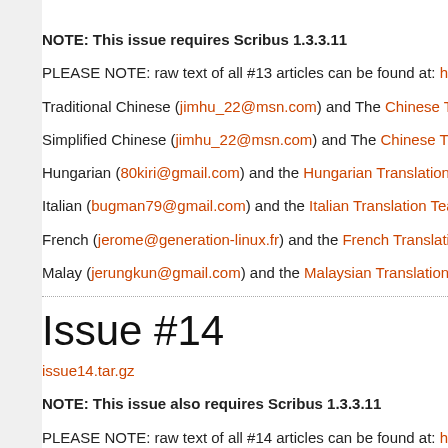NOTE: This issue requires Scribus 1.3.3.11
PLEASE NOTE: raw text of all #13 articles can be found at: http...
Traditional Chinese (jimhu_22@msn.com) and The Chinese Tra...
Simplified Chinese (jimhu_22@msn.com) and The Chinese Tran...
Hungarian (80kiri@gmail.com) and the Hungarian Translation T...
Italian (bugman79@gmail.com) and the Italian Translation Tea...
French (jerome@generation-linux.fr) and the French Translatio...
Malay (jerungkun@gmail.com) and the Malaysian Translation T...
Issue #14
issue14.tar.gz
NOTE: This issue also requires Scribus 1.3.3.11
PLEASE NOTE: raw text of all #14 articles can be found at: http...
Traditional Chinese (jimhu_22@msn.com) and The Chinese Tra...